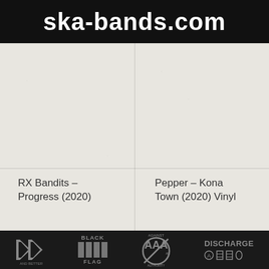ska-bands.com
RX Bandits – Progress (2020)
Pepper – Kona Town (2020) Vinyl
[Figure (logo): Footer bar with punk band logos: Dead Kennedys, Black Flag, Against All Authority, Discharge]